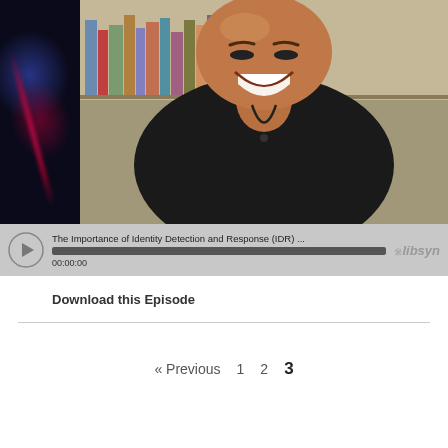[Figure (screenshot): A podcast/video player embed showing a bald smiling man in a black shirt against a bookshelf background, with a dark left panel featuring a red streak graphic. Below the thumbnail is an audio player bar with a play button, episode title 'The Importance of Identity Detection and Response (IDR) ...', a progress bar showing 00:00:00, and libsyn branding.]
Download this Episode
« Previous  1  2  3